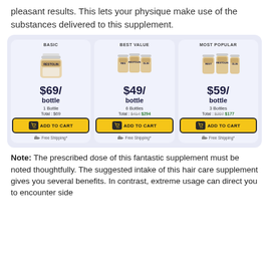pleasant results. This lets your physique make use of the substances delivered to this supplement.
[Figure (infographic): Three pricing cards for Restolin supplement: BASIC ($69/bottle, 1 Bottle, Total: $69), BEST VALUE ($49/bottle, 6 Bottles, Total: $414 $294), MOST POPULAR ($59/bottle, 3 Bottles, Total: $207 $177). Each card has an ADD TO CART button and Free Shipping note.]
Note: The prescribed dose of this fantastic supplement must be noted thoughtfully. The suggested intake of this hair care supplement gives you several benefits. In contrast, extreme usage can direct you to encounter side